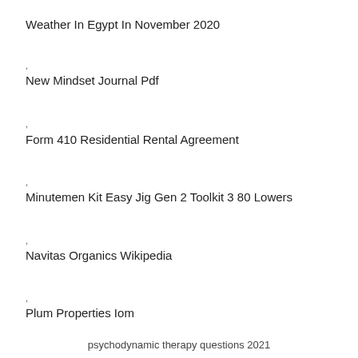Weather In Egypt In November 2020
,
New Mindset Journal Pdf
,
Form 410 Residential Rental Agreement
,
Minutemen Kit Easy Jig Gen 2 Toolkit 3 80 Lowers
,
Navitas Organics Wikipedia
,
Plum Properties Iom
,
Brass Beads Fly Tying
,
psychodynamic therapy questions 2021